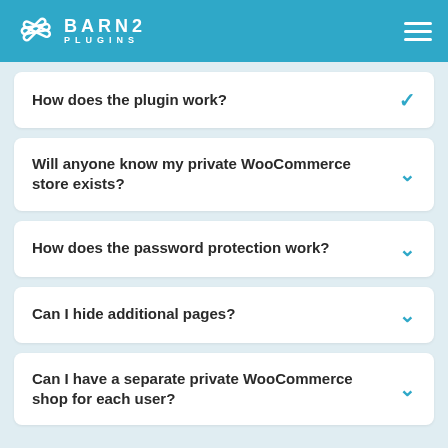BARN2 PLUGINS
How does the plugin work?
Will anyone know my private WooCommerce store exists?
How does the password protection work?
Can I hide additional pages?
Can I have a separate private WooCommerce shop for each user?